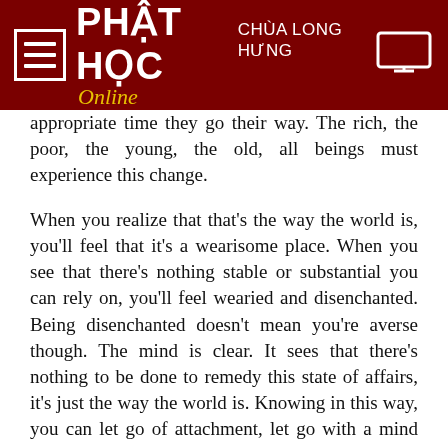PHẬT HỌC CHÙA LONG HƯNG Online
appropriate time they go their way. The rich, the poor, the young, the old, all beings must experience this change.
When you realize that that's the way the world is, you'll feel that it's a wearisome place. When you see that there's nothing stable or substantial you can rely on, you'll feel wearied and disenchanted. Being disenchanted doesn't mean you're averse though. The mind is clear. It sees that there's nothing to be done to remedy this state of affairs, it's just the way the world is. Knowing in this way, you can let go of attachment, let go with a mind that is neither happy nor sad, but at peace with sankhàras through seeing with wisdom their changing nature.
Aniccà vata sankhàra -- all sankhàras are impermanent. To put it simply: impermanence is the Buddha. If we see an impermanent phenomena really